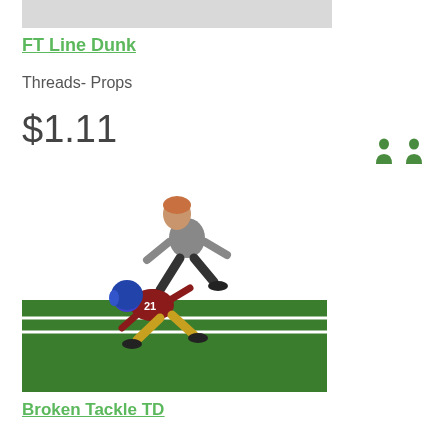[Figure (screenshot): Gray image thumbnail placeholder at top]
FT Line Dunk
Threads- Props
$1.11
[Figure (photo): Football game screenshot showing a player performing a broken tackle TD on a green field]
Broken Tackle TD
Washington Redskins
$1.67